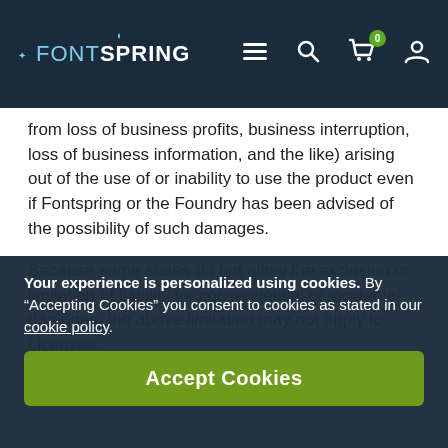FONTSPRING
from loss of business profits, business interruption, loss of business information, and the like) arising out of the use of or inability to use the product even if Fontspring or the Foundry has been advised of the possibility of such damages.
Because some states do not allow the exclusion or limitation of liability for consequential or incidental damages, the above limitation may not apply to Licensee.
10. Governing Law
Your experience is personalized using cookies. By “Accepting Cookies” you consent to cookies as stated in our cookie policy.
Accept Cookies